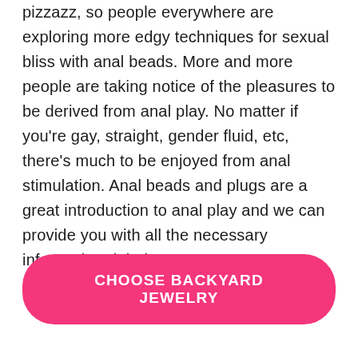pizzazz, so people everywhere are exploring more edgy techniques for sexual bliss with anal beads. More and more people are taking notice of the pleasures to be derived from anal play. No matter if you're gay, straight, gender fluid, etc, there's much to be enjoyed from anal stimulation. Anal beads and plugs are a great introduction to anal play and we can provide you with all the necessary information right here.
CHOOSE BACKYARD JEWELRY